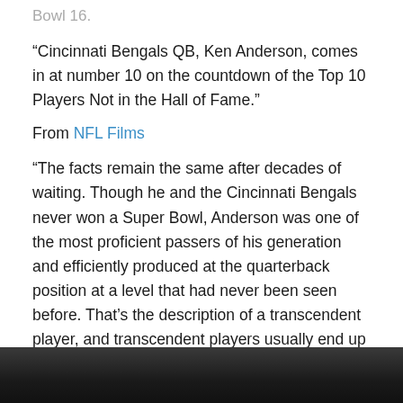Bowl 16.
“Cincinnati Bengals QB, Ken Anderson, comes in at number 10 on the countdown of the Top 10 Players Not in the Hall of Fame.”
From NFL Films
“The facts remain the same after decades of waiting. Though he and the Cincinnati Bengals never won a Super Bowl, Anderson was one of the most proficient passers of his generation and efficiently produced at the quarterback position at a level that had never been seen before. That’s the description of a transcendent player, and transcendent players usually end up in the Hall of Fame.
Sooner or later, Anderson’s name will be called…right?”
[Figure (photo): Dark photograph at bottom of page, partially visible, showing people in a dimly lit setting]